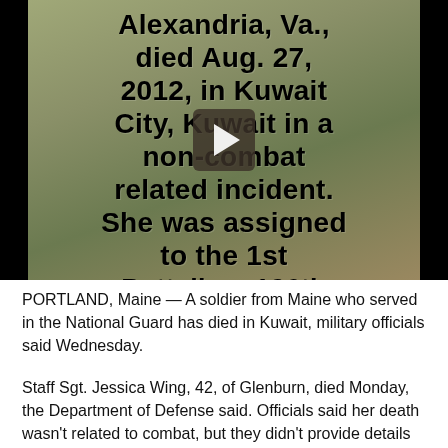[Figure (screenshot): Video screenshot showing a person wearing a hat with bold black text overlay reading: 'Alexandria, Va., died Aug. 27, 2012, in Kuwait City, Kuwait in a non-combat related incident. She was assigned to the 1st Battalion, 126th' with a video play button in the center.]
PORTLAND, Maine — A soldier from Maine who served in the National Guard has died in Kuwait, military officials said Wednesday.
Staff Sgt. Jessica Wing, 42, of Glenburn, died Monday, the Department of Defense said. Officials said her death wasn't related to combat, but they didn't provide details on the circumstances.